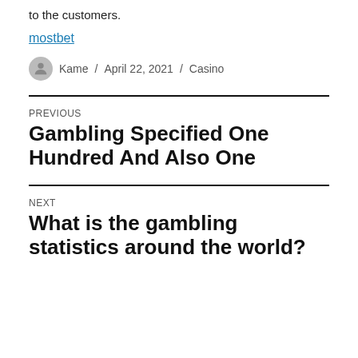to the customers.
mostbet
Kame / April 22, 2021 / Casino
PREVIOUS
Gambling Specified One Hundred And Also One
NEXT
What is the gambling statistics around the world?